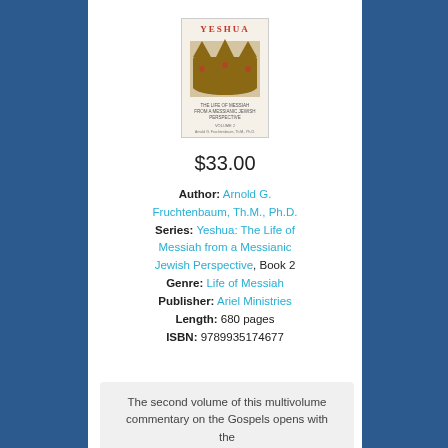[Figure (photo): Book cover of YESHUA with a crown image]
$33.00
Author: Arnold G. Fruchtenbaum, Th.M., Ph.D. Series: Yeshua: The Life of Messiah from a Messianic Jewish Perspective, Book 2 Genre: Life of Messiah Publisher: Ariel Ministries Length: 680 pages ISBN: 9789935174677
The second volume of this multivolume commentary on the Gospels opens with the